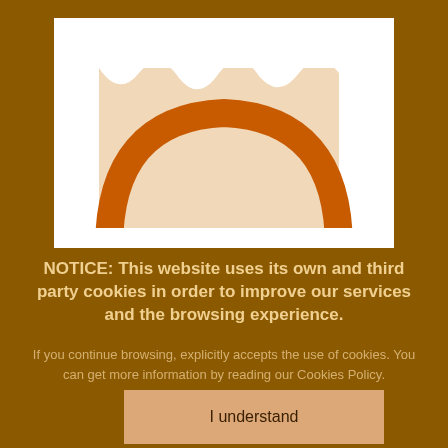[Figure (illustration): A cookie notice overlay showing a stylized illustration of a cookie or pastry with an arch/dome shape in orange-brown tones against a white/cream background, nested inside a white rectangle.]
NOTICE: This website uses its own and third party cookies in order to improve our services and the browsing experience.
If you continue browsing, explicitly accepts the use of cookies. You can get more information by reading our Cookies Policy.
I understand